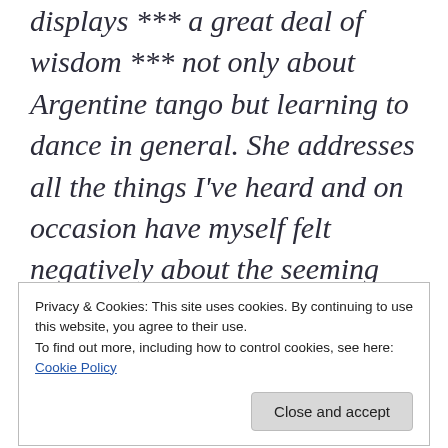displays *** a great deal of wisdom *** not only about Argentine tango but learning to dance in general. She addresses all the things I've heard and on occasion have myself felt negatively about the seeming lack of friendliness, not so sociable and even snobbish behavior of
Privacy & Cookies: This site uses cookies. By continuing to use this website, you agree to their use.
To find out more, including how to control cookies, see here:
Cookie Policy
Close and accept
to have no interest in dancing